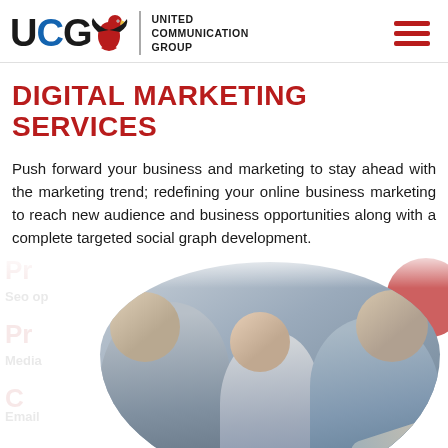[Figure (logo): UCG - United Communication Group logo with eagle graphic and red hamburger menu icon on right]
DIGITAL MARKETING SERVICES
Push forward your business and marketing to stay ahead with the marketing trend; redefining your online business marketing to reach new audience and business opportunities along with a complete targeted social graph development.
[Figure (photo): Three people (two men and a woman) collaborating over a tablet or document, shown in a rounded circular crop. A partially visible red circle decorates the upper right.]